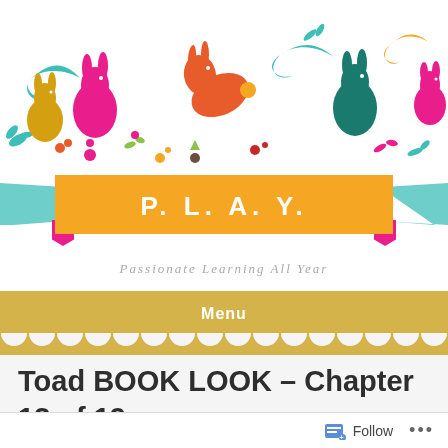[Figure (illustration): Colorful folk-art style illustration banner with rabbits, birds, and flowers in teal, pink, orange, yellow, red, and gold on white background]
P. L. A. Y.
Passionate Learning All Year
Menu
Toad BOOK LOOK – Chapter 13 of 19
Jun 1, 2021